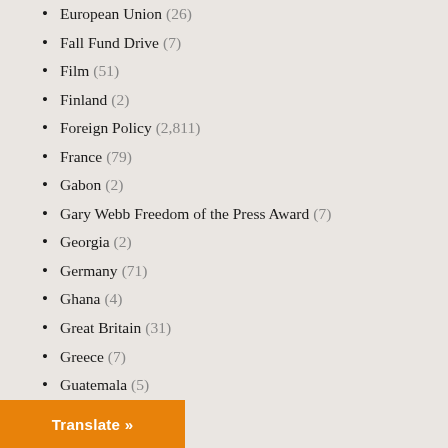European Union (26)
Fall Fund Drive (7)
Film (51)
Finland (2)
Foreign Policy (2,811)
France (79)
Gabon (2)
Gary Webb Freedom of the Press Award (7)
Georgia (2)
Germany (71)
Ghana (4)
Great Britain (31)
Greece (7)
Guatemala (5)
Gulf States (54)
Gun Violence (50)
Guns (14)
Haiti (3)
n (179)